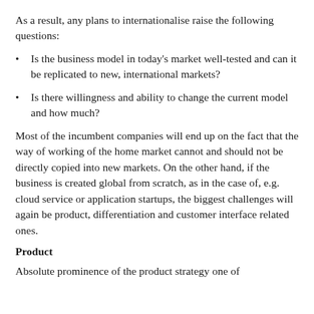As a result, any plans to internationalise raise the following questions:
Is the business model in today's market well-tested and can it be replicated to new, international markets?
Is there willingness and ability to change the current model and how much?
Most of the incumbent companies will end up on the fact that the way of working of the home market cannot and should not be directly copied into new markets. On the other hand, if the business is created global from scratch, as in the case of, e.g. cloud service or application startups, the biggest challenges will again be product, differentiation and customer interface related ones.
Product
Absolute prominence of the product strategy one of